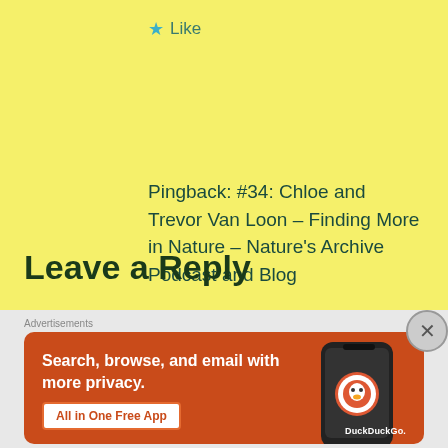★ Like
Pingback: #34: Chloe and Trevor Van Loon – Finding More in Nature – Nature's Archive Podcast and Blog
Leave a Reply
Advertisements
[Figure (screenshot): DuckDuckGo advertisement banner: orange/red background with phone mockup showing DuckDuckGo logo. Text reads 'Search, browse, and email with more privacy. All in One Free App'. DuckDuckGo logo visible on phone.]